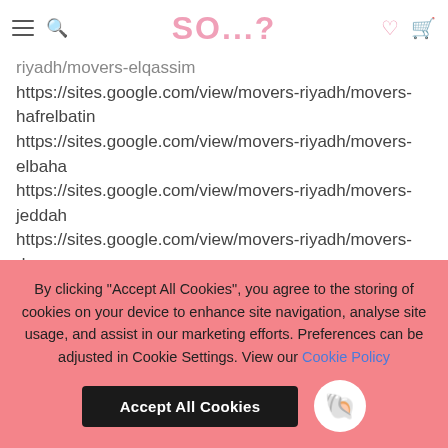SO...?
riyadh/movers-elqassim https://sites.google.com/view/movers-riyadh/movers-hafrelbatin https://sites.google.com/view/movers-riyadh/movers-elbaha https://sites.google.com/view/movers-riyadh/movers-jeddah https://sites.google.com/view/movers-riyadh/movers-dammam https://sites.google.com/view/movers-
By clicking “Accept All Cookies”, you agree to the storing of cookies on your device to enhance site navigation, analyse site usage, and assist in our marketing efforts. Preferences can be adjusted in Cookie Settings. View our Cookie Policy
Accept All Cookies